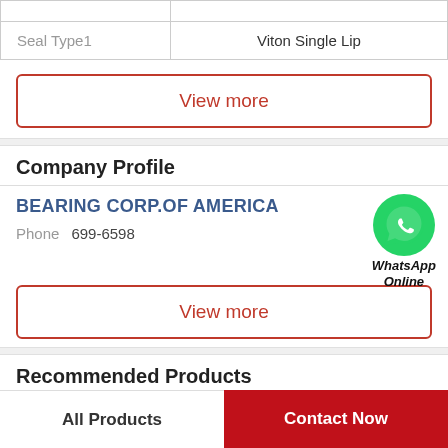|  |  |
| --- | --- |
|  |  |
| Seal Type1 | Viton Single Lip |
View more
Company Profile
BEARING CORP.OF AMERICA
[Figure (other): WhatsApp Online green phone icon with text 'WhatsApp Online']
Phone  699-6598
View more
Recommended Products
All Products
Contact Now